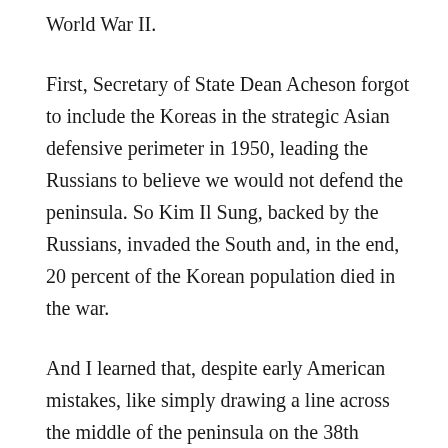World War II.
First, Secretary of State Dean Acheson forgot to include the Koreas in the strategic Asian defensive perimeter in 1950, leading the Russians to believe we would not defend the peninsula. So Kim Il Sung, backed by the Russians, invaded the South and, in the end, 20 percent of the Korean population died in the war.
And I learned that, despite early American mistakes, like simply drawing a line across the middle of the peninsula on the 38th parallel (which made no geopolitical sense) after the war “ended” in a draw, the U.S. backed South Korean development to such an extent that it has not only become one of the greatest economic success stories of the modern age, but it has